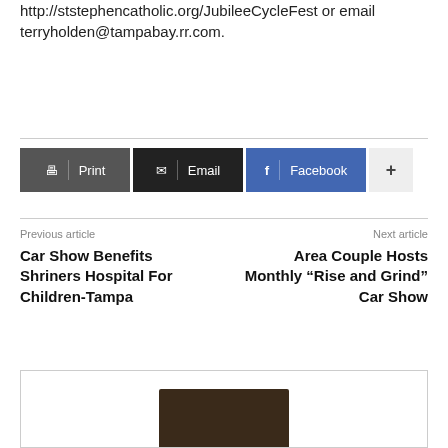http://ststephencatholic.org/JubileeCycleFest or email terryholden@tampabay.rr.com.
Print
Email
Facebook
Previous article
Car Show Benefits Shriners Hospital For Children-Tampa
Next article
Area Couple Hosts Monthly “Rise and Grind” Car Show
[Figure (photo): Partially visible image at bottom of page, dark background with indistinct subject]